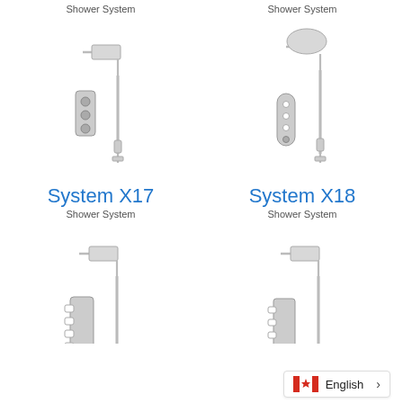Shower System
Shower System
[Figure (illustration): Shower system X17 product illustration showing wall-mounted rain shower head with arm, thermostatic valve, and handheld slider rail]
[Figure (illustration): Shower system X18 product illustration showing ceiling-mounted round rain shower head with arm, round thermostatic valve with buttons, and handheld slider rail]
System X17
Shower System
System X18
Shower System
[Figure (illustration): Shower system product illustration with wall-mounted square rain shower head, rectangular thermostatic valve, and handheld slider rail]
[Figure (illustration): Shower system product illustration with wall-mounted square rain shower head, rectangular thermostatic valve, and handheld slider rail]
English